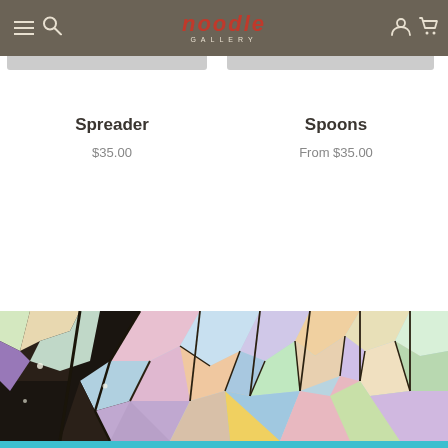noodle GALLERY — navigation bar with hamburger, search, logo, user and cart icons
Spreader
$35.00
Spoons
From $35.00
[Figure (illustration): Stained glass style colorful artwork showing abstract tree/forest shapes with dark outlines and multi-colored mosaic fill — teal, purple, pink, green, yellow, blue, orange]